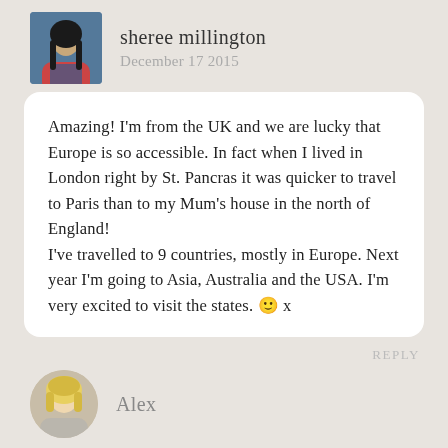sheree millington
December 17 2015
[Figure (photo): Profile photo of sheree millington, a woman with braids, outdoors]
Amazing! I'm from the UK and we are lucky that Europe is so accessible. In fact when I lived in London right by St. Pancras it was quicker to travel to Paris than to my Mum's house in the north of England!
I've travelled to 9 countries, mostly in Europe. Next year I'm going to Asia, Australia and the USA. I'm very excited to visit the states. 🙂 x
REPLY
[Figure (photo): Profile photo of Alex, a blonde woman]
Alex